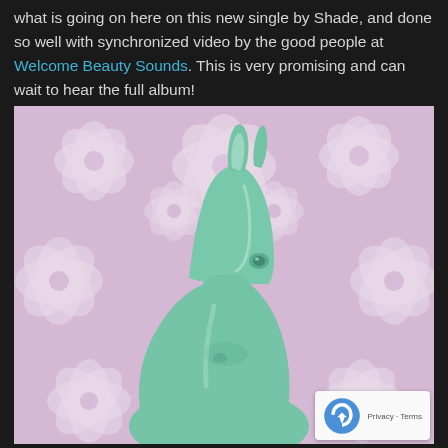what is going on here on this new single by Shade, and done so well with synchronized video by the good people at Welcome Beauty Sounds. This is very promising and can wait to hear the full album!
[Figure (illustration): A 3D rendered teal/mint green horse head sculpture against a pink floral background with white cherry blossom flowers in a symmetrical pattern]